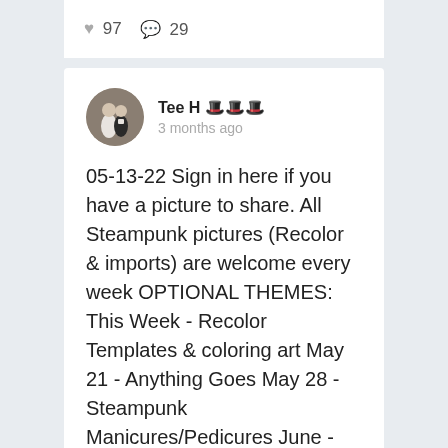♥ 97  💬 29
Tee H 🎩🎩🎩
3 months ago
[Figure (photo): Circular profile photo of a couple, one in a white dress and one in a tuxedo]
05-13-22 Sign in here if you have a picture to share. All Steampunk pictures (Recolor & imports) are welcome every week OPTIONAL THEMES: This Week - Recolor Templates & coloring art May 21 - Anything Goes May 28 - Steampunk Manicures/Pedicures June - Planning a break the month of June